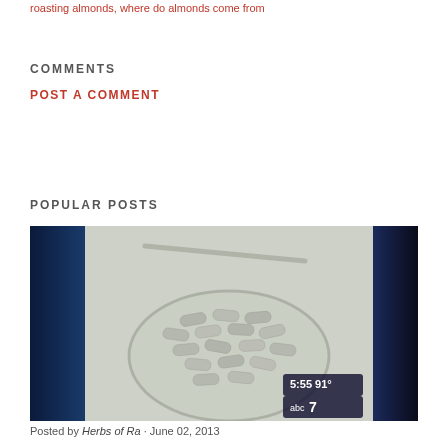roasting almonds, where do almonds come from
COMMENTS
POST A COMMENT
POPULAR POSTS
[Figure (photo): TV news screenshot showing a glass bowl filled with supplement capsules/pills, with ABC7 news bug showing 5:55 91° in the bottom right corner. Blue gradient bars on left and right sides of the frame.]
Posted by Herbs of Ra · June 02, 2013